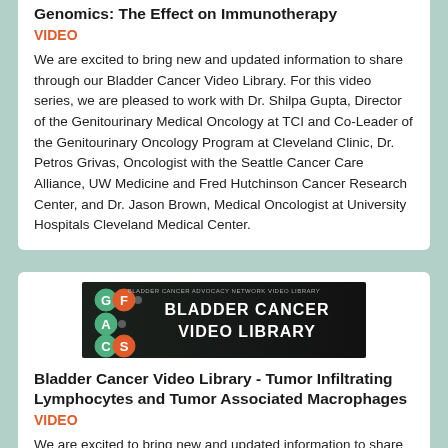Genomics: The Effect on Immunotherapy
VIDEO
We are excited to bring new and updated information to share through our Bladder Cancer Video Library. For this video series, we are pleased to work with Dr. Shilpa Gupta, Director of the Genitourinary Medical Oncology at TCI and Co-Leader of the Genitourinary Oncology Program at Cleveland Clinic, Dr. Petros Grivas, Oncologist with the Seattle Cancer Care Alliance, UW Medicine and Fred Hutchinson Cancer Research Center, and Dr. Jason Brown, Medical Oncologist at University Hospitals Cleveland Medical Center.
[Figure (screenshot): Bladder Cancer Video Library thumbnail with colored letter icons on left and white text BLADDER CANCER VIDEO LIBRARY on dark background]
Bladder Cancer Video Library - Tumor Infiltrating Lymphocytes and Tumor Associated Macrophages
VIDEO
We are excited to bring new and updated information to share through our Bladder Cancer Video Library. For this video series, we are pleased